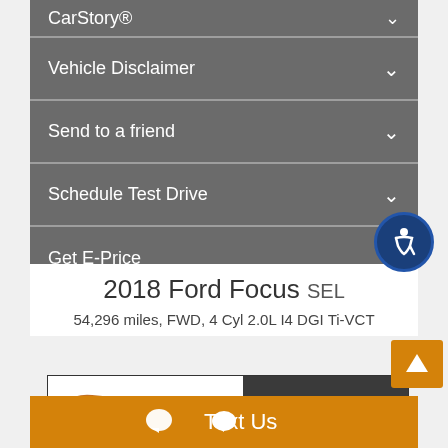CarStory®
Vehicle Disclaimer
Send to a friend
Schedule Test Drive
Get E-Price
2018 Ford Focus SEL
54,296 miles, FWD, 4 Cyl 2.0L I4 DGI Ti-VCT
[Figure (logo): Autos Online dealership advertisement banner with car silhouette logo and Autos brand mark on dark background]
Text Us